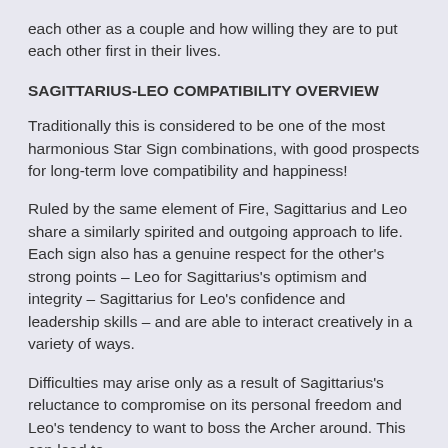each other as a couple and how willing they are to put each other first in their lives.
SAGITTARIUS-LEO COMPATIBILITY OVERVIEW
Traditionally this is considered to be one of the most harmonious Star Sign combinations, with good prospects for long-term love compatibility and happiness!
Ruled by the same element of Fire, Sagittarius and Leo share a similarly spirited and outgoing approach to life. Each sign also has a genuine respect for the other's strong points – Leo for Sagittarius's optimism and integrity – Sagittarius for Leo's confidence and leadership skills – and are able to interact creatively in a variety of ways.
Difficulties may arise only as a result of Sagittarius's reluctance to compromise on its personal freedom and Leo's tendency to want to boss the Archer around. This can lead to